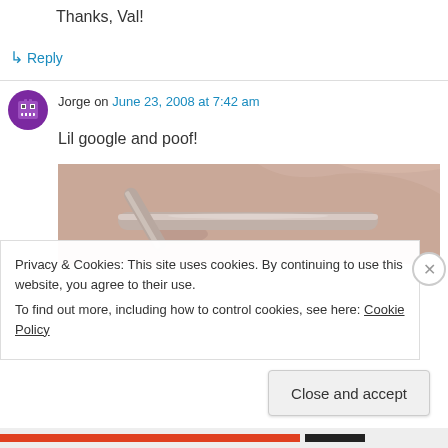Thanks, Val!
↳ Reply
Jorge on June 23, 2008 at 7:42 am
Lil google and poof!
[Figure (photo): Close-up photo of metallic tubes/pipes against a pinkish-beige background]
Privacy & Cookies: This site uses cookies. By continuing to use this website, you agree to their use.
To find out more, including how to control cookies, see here: Cookie Policy
Close and accept